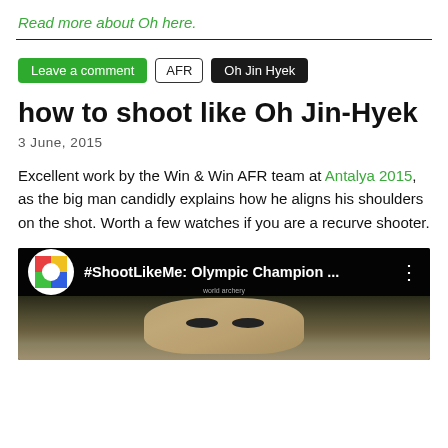Read more about Oh here.
Leave a comment  AFR  Oh Jin Hyek
how to shoot like Oh Jin-Hyek
3 June, 2015
Excellent work by the Win & Win AFR team at Antalya 2015, as the big man candidly explains how he aligns his shoulders on the shot. Worth a few watches if you are a recurve shooter.
[Figure (screenshot): YouTube video thumbnail showing '#ShootLikeMe: Olympic Champion ...' with World Archery logo and close-up of a person's face]